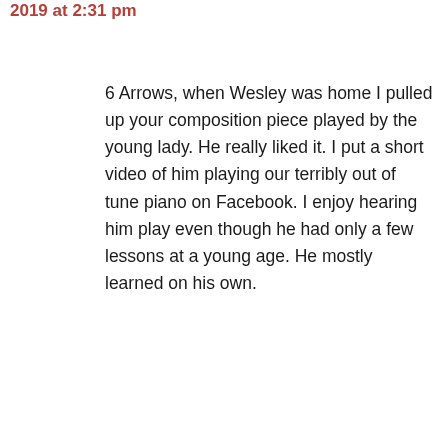September 10, 2019 at 2:31 pm
6 Arrows, when Wesley was home I pulled up your composition piece played by the young lady. He really liked it. I put a short video of him playing our terribly out of tune piano on Facebook. I enjoy hearing him play even though he had only a few lessons at a young age. He mostly learned on his own.
Like
[Figure (photo): Circular avatar photo of a person with gray hair and sunglasses on their head, outdoors background]